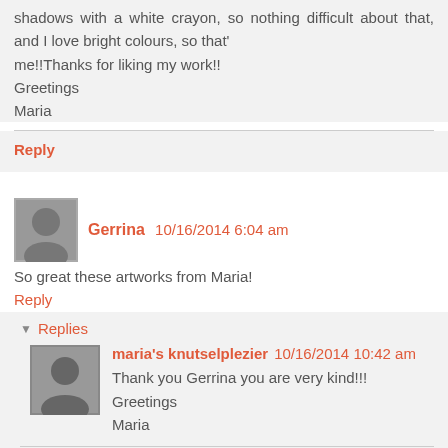shadows with a white crayon, so nothing difficult about that, and I love bright colours, so that'me!!Thanks for liking my work!! Greetings Maria
Reply
Gerrina 10/16/2014 6:04 am
So great these artworks from Maria!
Reply
Replies
maria's knutselplezier 10/16/2014 10:42 am
Thank you Gerrina you are very kind!!! Greetings Maria